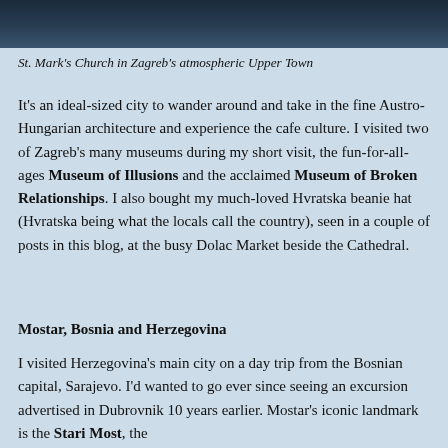[Figure (photo): Partial photo showing a dark/night-time scene, likely St. Mark's Church in Zagreb's Upper Town – only the bottom strip of the image is visible]
St. Mark's Church in Zagreb's atmospheric Upper Town
It's an ideal-sized city to wander around and take in the fine Austro-Hungarian architecture and experience the cafe culture. I visited two of Zagreb's many museums during my short visit, the fun-for-all-ages Museum of Illusions and the acclaimed Museum of Broken Relationships. I also bought my much-loved Hvratska beanie hat (Hvratska being what the locals call the country), seen in a couple of posts in this blog, at the busy Dolac Market beside the Cathedral.
Mostar, Bosnia and Herzegovina
I visited Herzegovina's main city on a day trip from the Bosnian capital, Sarajevo. I'd wanted to go ever since seeing an excursion advertised in Dubrovnik 10 years earlier. Mostar's iconic landmark is the Stari Most, the